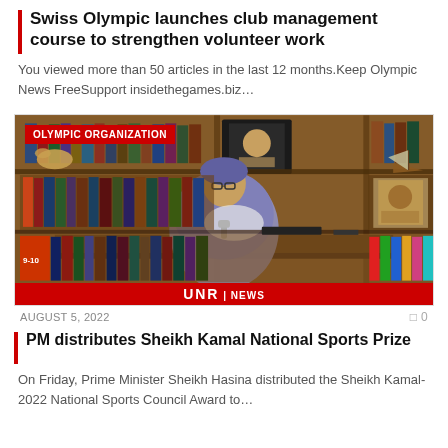Swiss Olympic launches club management course to strengthen volunteer work
You viewed more than 50 articles in the last 12 months.Keep Olympic News FreeSupport insidethegames.biz…
[Figure (photo): Person (PM Sheikh Hasina) seated at desk in room lined with bookshelves. Red banner at top left reads OLYMPIC ORGANIZATION. Red HNB News bar at bottom.]
AUGUST 5, 2022   0
PM distributes Sheikh Kamal National Sports Prize
On Friday, Prime Minister Sheikh Hasina distributed the Sheikh Kamal-2022 National Sports Council Award to…